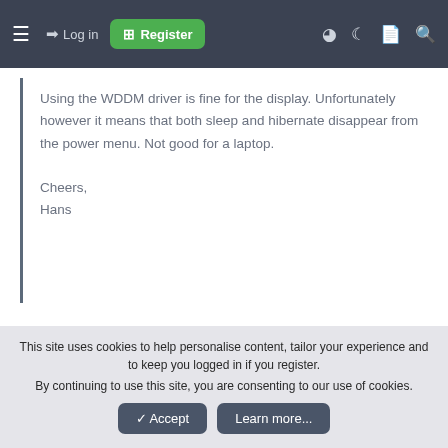≡  →) Log in  ⊞ Register  ● ☽ 🗋 🔍
Using the WDDM driver is fine for the display. Unfortunately however it means that both sleep and hibernate disappear from the power menu. Not good for a laptop.
Cheers,
Hans
Hi there

in all the years I've been using laptops I've NEVER bothered with Sleep or Hibernate -- re-boot times are usually pretty decent and unlike a DESKTOP computer
This site uses cookies to help personalise content, tailor your experience and to keep you logged in if you register.
By continuing to use this site, you are consenting to our use of cookies.
✓ Accept   Learn more...